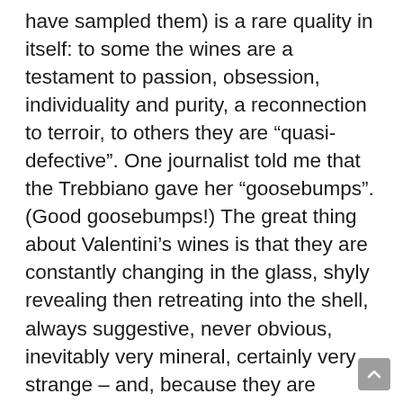have sampled them) is a rare quality in itself: to some the wines are a testament to passion, obsession, individuality and purity, a reconnection to terroir, to others they are “quasi-defective”. One journalist told me that the Trebbiano gave her “goosebumps”. (Good goosebumps!) The great thing about Valentini’s wines is that they are constantly changing in the glass, shyly revealing then retreating into the shell, always suggestive, never obvious, inevitably very mineral, certainly very strange – and, because they are released with bottle age, they exhibit intriguing and offbeat secondary and reductive aromas. We are inculcated to respect transparent cleanness, and to accept the notion that a wine that is not clean must, ipso facto, be faulty. This view is an immaculate misconception. Some of the greatest wines are borderline mad and downright impertinent. The